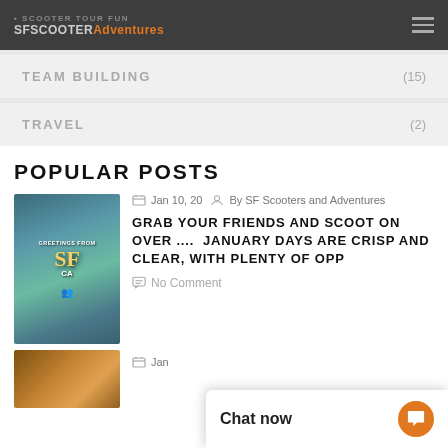SCOOTER TOUR FUN — SFSCOOTERAdventures
TEAM BUILDING (15)
TRAVEL (2)
POPULAR POSTS
Jan 10, 20  By SF Scooters and Adventures
GRAB YOUR FRIENDS AND SCOOT ON OVER ....  JANUARY DAYS ARE CRISP AND CLEAR, WITH PLENTY OF OPP
No Comment
Jan
Chat now